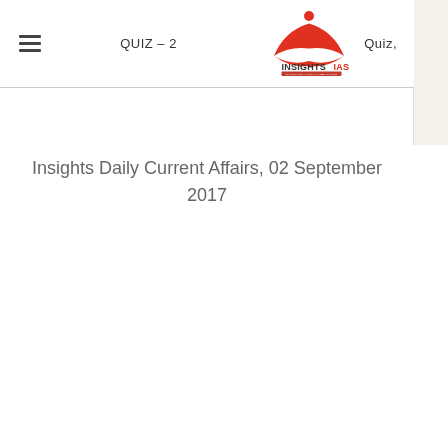QUIZ – 2  INSIGHTSIAS Quiz,
Insights Daily Current Affairs, 02 September 2017